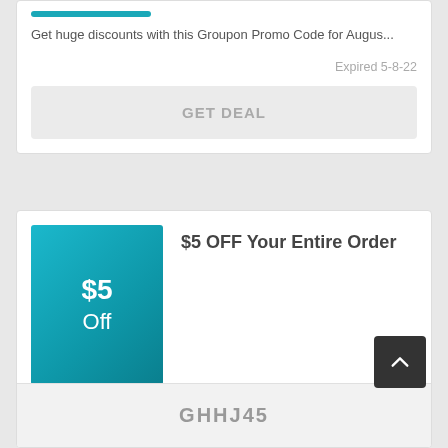Get huge discounts with this Groupon Promo Code for Augus...
Expired 5-8-22
GET DEAL
$5 OFF Your Entire Order
Gain perfect discounts and price with this awesome offer: $5.
Expired 22-8-22
GHHJ45